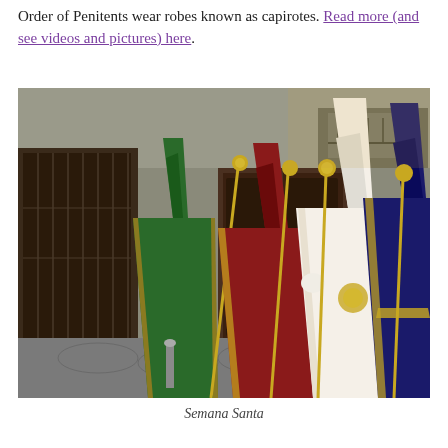Order of Penitents wear robes known as capirotes. Read more (and see videos and pictures) here.
[Figure (photo): Photograph of penitents in colorful robes (green, red, white, blue) with tall conical capirote hoods and golden staffs, standing in a street during Semana Santa procession.]
Semana Santa